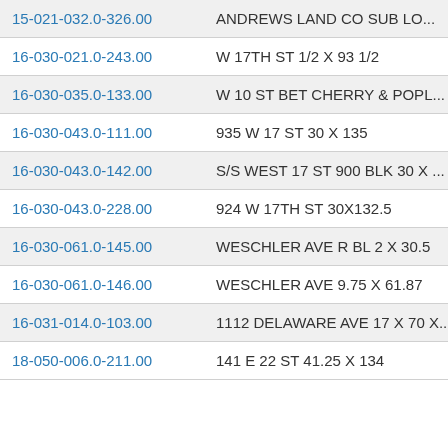| Parcel ID | Description |
| --- | --- |
| 15-021-032.0-326.00 | ANDREWS LAND CO SUB LO... |
| 16-030-021.0-243.00 | W 17TH ST 1/2 X 93 1/2 |
| 16-030-035.0-133.00 | W 10 ST BET CHERRY & POPL... |
| 16-030-043.0-111.00 | 935 W 17 ST 30 X 135 |
| 16-030-043.0-142.00 | S/S WEST 17 ST 900 BLK 30 X ... |
| 16-030-043.0-228.00 | 924 W 17TH ST 30X132.5 |
| 16-030-061.0-145.00 | WESCHLER AVE R BL 2 X 30.5 |
| 16-030-061.0-146.00 | WESCHLER AVE 9.75 X 61.87 |
| 16-031-014.0-103.00 | 1112 DELAWARE AVE 17 X 70 X... |
| 18-050-006.0-211.00 | 141 E 22 ST 41.25 X 134 |